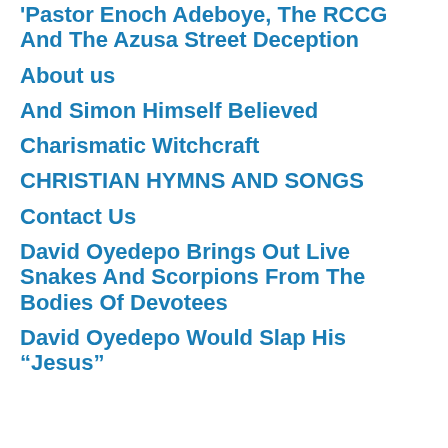Pastor Enoch Adeboye, The RCCG And The Azusa Street Deception
About us
And Simon Himself Believed
Charismatic Witchcraft
CHRISTIAN HYMNS AND SONGS
Contact Us
David Oyedepo Brings Out Live Snakes And Scorpions From The Bodies Of Devotees
David Oyedepo Would Slap His “Jesus”